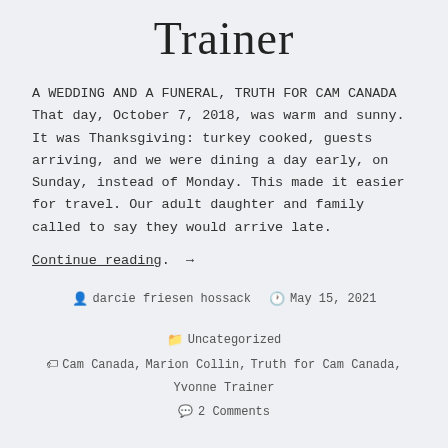Trainer
A WEDDING AND A FUNERAL, TRUTH FOR CAM CANADA That day, October 7, 2018, was warm and sunny. It was Thanksgiving: turkey cooked, guests arriving, and we were dining a day early, on Sunday, instead of Monday. This made it easier for travel. Our adult daughter and family called to say they would arrive late.
Continue reading. →
darcie friesen hossack   May 15, 2021   Uncategorized   Cam Canada, Marion Collin, Truth for Cam Canada, Yvonne Trainer   2 Comments